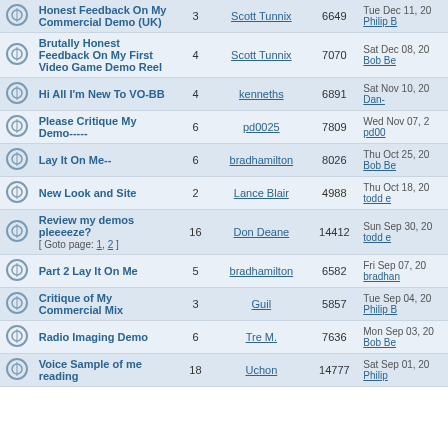|  | Topic | Replies | Author | Views | Last Post |
| --- | --- | --- | --- | --- | --- |
|  | Honest Feedback On My Commercial Demo (UK) | 3 | Scott Tunnix | 6649 | Tue Dec 11, 20
Philip B |
|  | Brutally Honest Feedback On My First Video Game Demo Reel | 4 | Scott Tunnix | 7070 | Sat Dec 08, 20
Bob Be |
|  | Hi All I'm New To VO-BB | 4 | kenneths | 6891 | Sat Nov 10, 20
Dan- |
|  | Please Critique My Demo----- | 6 | pd0025 | 7809 | Wed Nov 07, 2
pd00 |
|  | Lay It On Me-- | 6 | bradhamilton | 8026 | Thu Oct 25, 20
Bob Be |
|  | New Look and Site | 2 | Lance Blair | 4988 | Thu Oct 18, 20
todd e |
|  | Review my demos pleeeeze? [ Goto page: 1, 2 ] | 16 | Don Deane | 14412 | Sun Sep 30, 20
todd e |
|  | Part 2 Lay It On Me | 5 | bradhamilton | 6582 | Fri Sep 07, 20
bradhan |
|  | Critique of My Commercial Mix | 3 | Guil | 5857 | Tue Sep 04, 20
Philip B |
|  | Radio Imaging Demo | 6 | Tre M. | 7636 | Mon Sep 03, 20
Bob Be |
|  | Voice Sample of me reading | 18 | Uchon | 14777 | Sat Sep 01, 20
Philip |